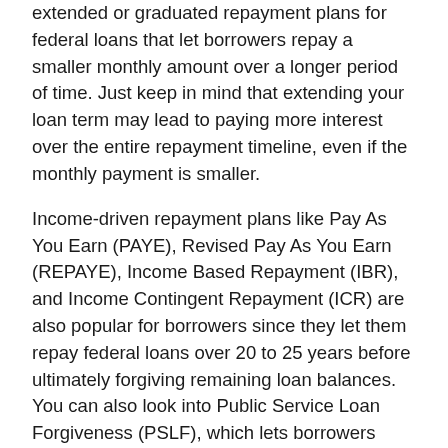extended or graduated repayment plans for federal loans that let borrowers repay a smaller monthly amount over a longer period of time. Just keep in mind that extending your loan term may lead to paying more interest over the entire repayment timeline, even if the monthly payment is smaller.
Income-driven repayment plans like Pay As You Earn (PAYE), Revised Pay As You Earn (REPAYE), Income Based Repayment (IBR), and Income Contingent Repayment (ICR) are also popular for borrowers since they let them repay federal loans over 20 to 25 years before ultimately forgiving remaining loan balances. You can also look into Public Service Loan Forgiveness (PSLF), which lets borrowers repay loans on an income-driven plan for 10 years before remaining loan balances are forgiven. Just keep in mind that PSLF applicants are required to repay their loans while working in an eligible public service position.